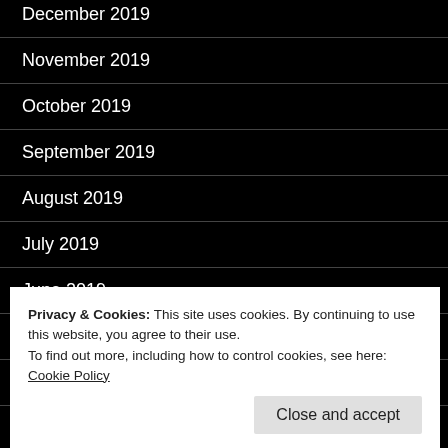December 2019
November 2019
October 2019
September 2019
August 2019
July 2019
June 2019
May 2019
April 2019
Privacy & Cookies: This site uses cookies. By continuing to use this website, you agree to their use.
To find out more, including how to control cookies, see here: Cookie Policy
Close and accept